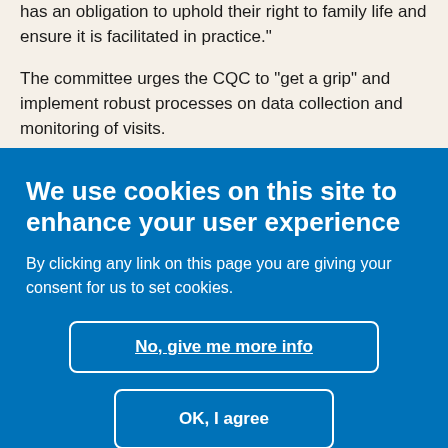has an obligation to uphold their right to family life and ensure it is facilitated in practice."
The committee urges the CQC to "get a grip" and implement robust processes on data collection and monitoring of visits.
We use cookies on this site to enhance your user experience
By clicking any link on this page you are giving your consent for us to set cookies.
No, give me more info
OK, I agree